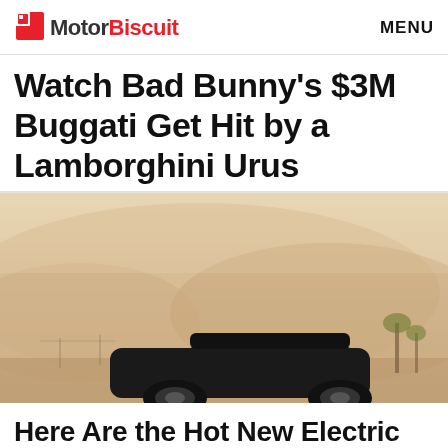MotorBiscuit   MENU
Watch Bad Bunny's $3M Buggati Get Hit by a Lamborghini Urus
[Figure (photo): A dark luxury car (Lamborghini Urus) photographed in a hazy, dusty warm-toned desert scene with mountains and palm trees in the background]
Here Are the Hot New Electric SUVs You Should...